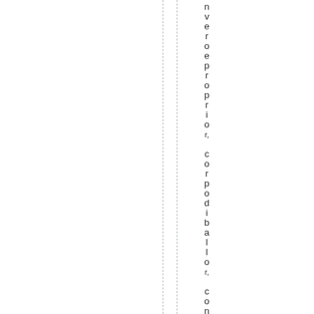nveroeproprior, corpodiballer, con